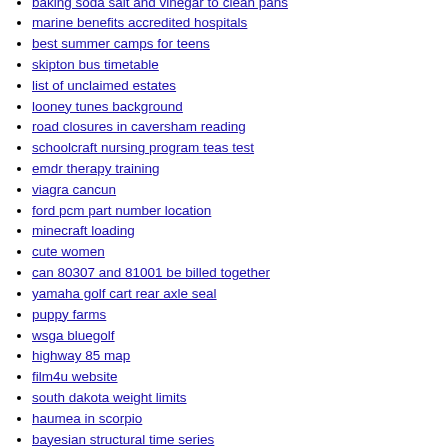baking soda salt and vinegar to clean pans
marine benefits accredited hospitals
best summer camps for teens
skipton bus timetable
list of unclaimed estates
looney tunes background
road closures in caversham reading
schoolcraft nursing program teas test
emdr therapy training
viagra cancun
ford pcm part number location
minecraft loading
cute women
can 80307 and 81001 be billed together
yamaha golf cart rear axle seal
puppy farms
wsga bluegolf
highway 85 map
film4u website
south dakota weight limits
haumea in scorpio
bayesian structural time series
pawn shops near me that buy antiques
ee smart hub router login
villanova acceptance rate 2022